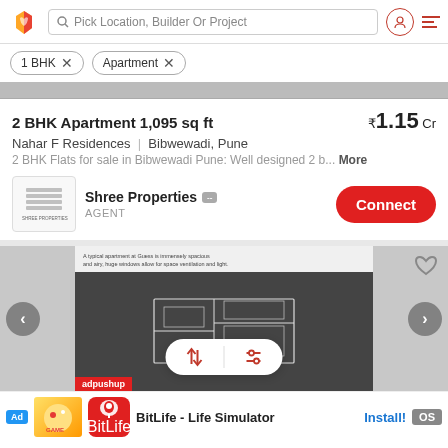Pick Location, Builder Or Project
1 BHK × Apartment ×
2 BHK Apartment 1,095 sq ft
₹1.15 Cr
Nahar F Residences | Bibwewadi, Pune
2 BHK Flats for sale in Bibwewadi Pune: Well designed 2 b... More
Shree Properties AGENT Connect
[Figure (screenshot): Second property listing image with floor plan view and sort/filter overlay buttons]
adpushup Ad BitLife - Life Simulator Install! OS